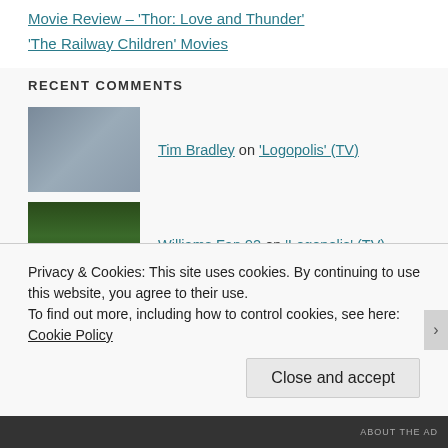Movie Review – 'Thor: Love and Thunder'
'The Railway Children' Movies
RECENT COMMENTS
Tim Bradley on 'Logopolis' (TV)
Williams Fan 92 on 'Logopolis' (TV)
Tim Bradley on 'Spider-Man: No Way Home…'
Privacy & Cookies: This site uses cookies. By continuing to use this website, you agree to their use.
To find out more, including how to control cookies, see here: Cookie Policy
Close and accept